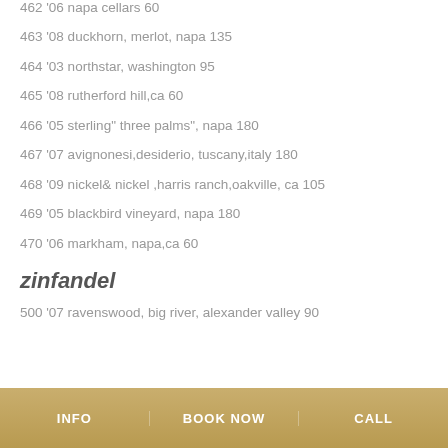462 '06 napa cellars 60
463 '08 duckhorn, merlot, napa 135
464 '03 northstar, washington 95
465 '08 rutherford hill,ca 60
466 '05 sterling" three palms", napa 180
467 '07 avignonesi,desiderio, tuscany,italy 180
468 '09 nickel& nickel ,harris ranch,oakville, ca 105
469 '05 blackbird vineyard, napa 180
470 '06 markham, napa,ca 60
zinfandel
500 '07 ravenswood, big river, alexander valley 90
INFO    BOOK NOW    CALL